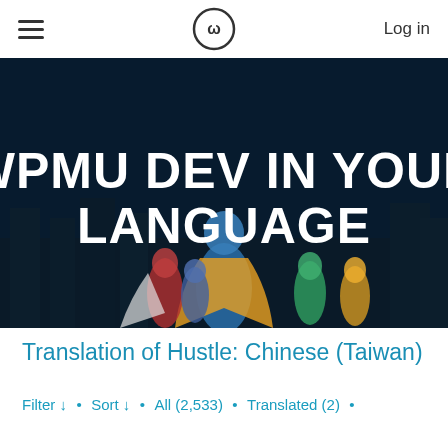Log in
[Figure (illustration): Hero banner with superhero characters on dark blue background with text WPMU DEV IN YOUR LANGUAGE]
WPMU DEV IN YOUR LANGUAGE
Translation of Hustle: Chinese (Taiwan)
Filter ↓ • Sort ↓ • All (2,533) • Translated (2) •